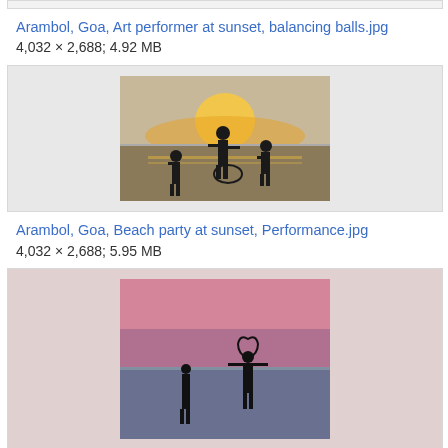[Figure (photo): Partial top of an image box showing a cropped beach/sunset photo at the very top of the page]
Arambol, Goa, Art performer at sunset, balancing balls.jpg
4,032 × 2,688; 4.92 MB
[Figure (photo): Beach scene at sunset showing silhouettes of people on the beach, one person appears to be jumping or dancing with a hula hoop, golden sun reflection on water]
Arambol, Goa, Beach party at sunset, Performance.jpg
4,032 × 2,688; 5.95 MB
[Figure (photo): Beach at sunset/dusk with pink sky, showing silhouettes of two people, one appears to be holding a fire hoop or similar circular object above their head]